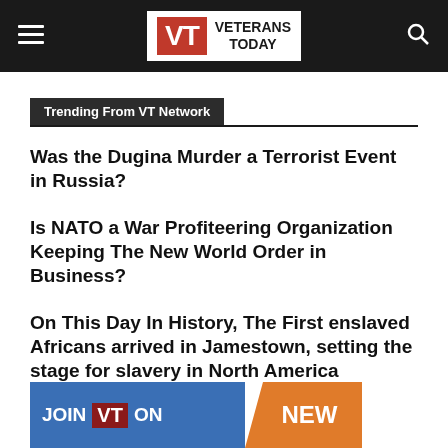VETERANS TODAY
Trending From VT Network
Was the Dugina Murder a Terrorist Event in Russia?
Is NATO a War Profiteering Organization Keeping The New World Order in Business?
On This Day In History, The First enslaved Africans arrived in Jamestown, setting the stage for slavery in North America
[Figure (other): JOIN VT ON NEW advertisement banner with blue and orange background]